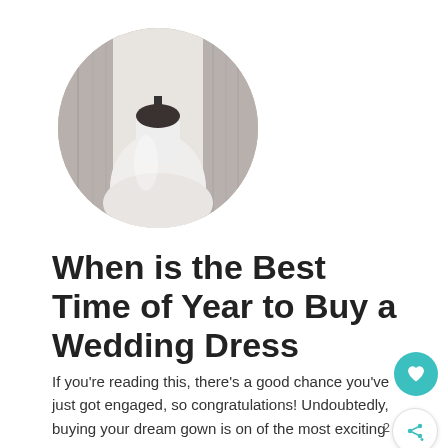[Figure (photo): Circular cropped photo of a white wedding dress on a mannequin in a bridal shop with white curtains in the background]
When is the Best Time of Year to Buy a Wedding Dress
If you’re reading this, there’s a good chance you’ve just got engaged, so congratulations! Undoubtedly, buying your dream gown is on of the most exciting …